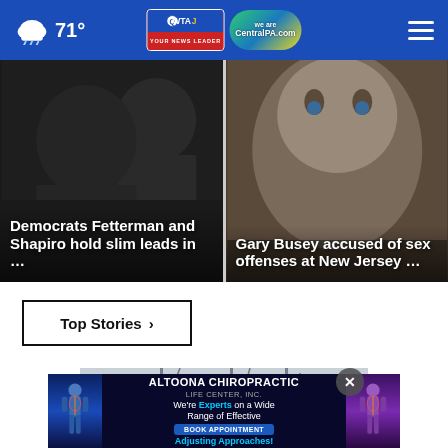71° WTAJ CentralPA.com
[Figure (photo): Dark close-up photo of a person with headline overlay: Democrats Fetterman and Shapiro hold slim leads in ...]
[Figure (photo): Close-up photo of Gary Busey's face with headline overlay: Gary Busey accused of sex offenses at New Jersey ...]
Top Stories ›
[Figure (photo): Bottom article image showing tree branches and interior through glass doors/windows]
[Figure (other): Advertisement banner for Altoona Chiropractic Life Center, Inc. — 'We're Experts on a Wide Range of Effective Adjusting Approaches!' with Book Appointment button and human body anatomy graphics]